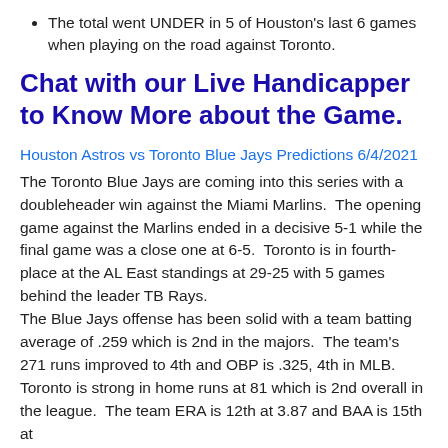The total went UNDER in 5 of Houston's last 6 games when playing on the road against Toronto.
Chat with our Live Handicapper to Know More about the Game.
Houston Astros vs Toronto Blue Jays Predictions 6/4/2021
The Toronto Blue Jays are coming into this series with a doubleheader win against the Miami Marlins.  The opening game against the Marlins ended in a decisive 5-1 while the final game was a close one at 6-5.  Toronto is in fourth-place at the AL East standings at 29-25 with 5 games behind the leader TB Rays.
The Blue Jays offense has been solid with a team batting average of .259 which is 2nd in the majors.  The team's 271 runs improved to 4th and OBP is .325, 4th in MLB.  Toronto is strong in home runs at 81 which is 2nd overall in the league.  The team ERA is 12th at 3.87 and BAA is 15th at